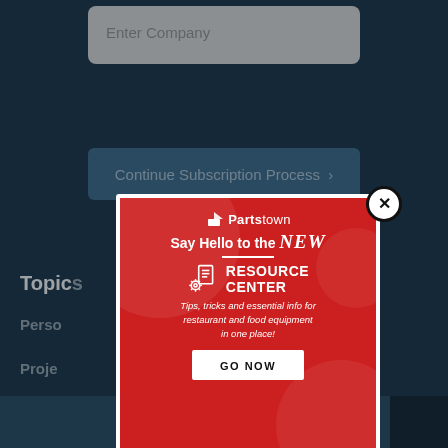[Figure (screenshot): App/website UI showing a dark navy background with an 'Enter Company' text input field at the top, a 'Continue Subscription Process >' button below, partially visible 'Topics' section label with blurred menu items (Perso..., Proje..., Trends), and a bottom navigation bar with a hamburger icon and 'MENU' label. A modal popup overlays the center of the screen showing a Partstown 'Resource Center' advertisement with a red background, white text 'Say Hello to the NEW RESOURCE CENTER', tagline 'Tips, tricks and essential info for restaurant and food equipment in one place!', a 'GO NOW' button, and a close (X) button in the top-right corner of the modal.]